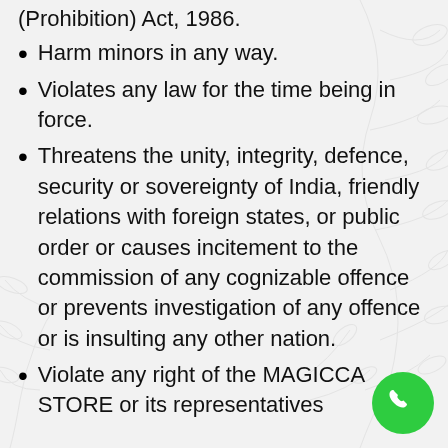(Prohibition) Act, 1986.
Harm minors in any way.
Violates any law for the time being in force.
Threatens the unity, integrity, defence, security or sovereignty of India, friendly relations with foreign states, or public order or causes incitement to the commission of any cognizable offence or prevents investigation of any offence or is insulting any other nation.
Violate any right of the MAGICCA STORE or its representatives